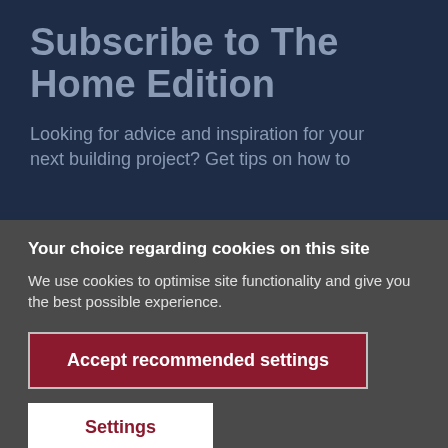Subscribe to The Home Edition
Looking for advice and inspiration for your next building project? Get tips on how to
Your choice regarding cookies on this site
We use cookies to optimise site functionality and give you the best possible experience.
Accept recommended settings
Settings